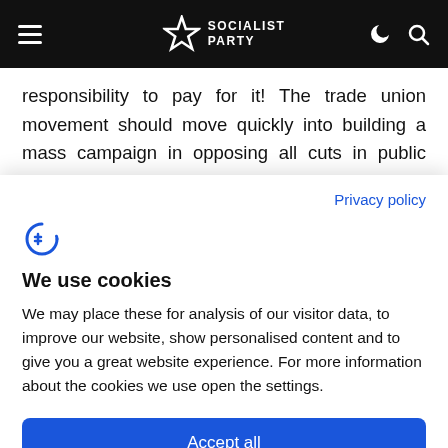SOCIALIST PARTY
responsibility to pay for it! The trade union movement should move quickly into building a mass campaign in opposing all cuts in public services, pay, conditions and pensions up to and including industrial action.
Privacy policy
[Figure (logo): Cookie consent icon - stylized C with euro-like symbol in blue]
We use cookies
We may place these for analysis of our visitor data, to improve our website, show personalised content and to give you a great website experience. For more information about the cookies we use open the settings.
Accept all
Deny
No, adjust